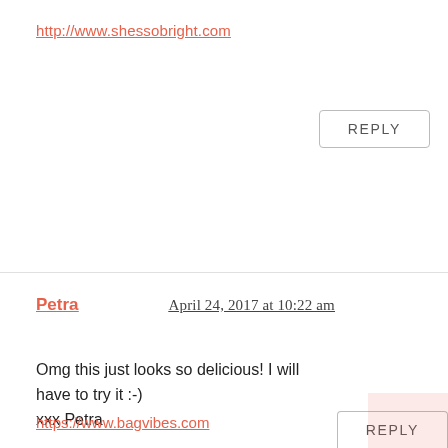http://www.shessobright.com
REPLY
Petra   April 24, 2017 at 10:22 am
Omg this just looks so delicious! I will have to try it :-)
xxx Petra
https://www.bagvibes.com
REPLY